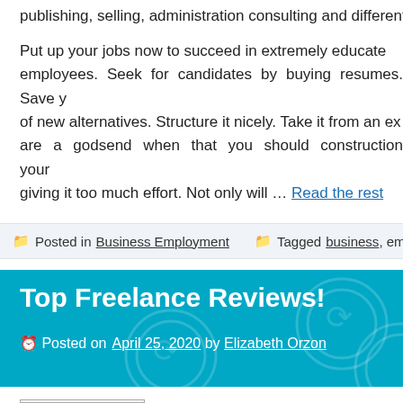publishing, selling, administration consulting and different...
Put up your jobs now to succeed in extremely educated employees. Seek for candidates by buying resumes. Save your of new alternatives. Structure it nicely. Take it from an exp are a godsend when that you should construction your giving it too much effort. Not only will … Read the rest
Posted in Business Employment   Tagged business, emplo...
Top Freelance Reviews!
Posted on April 25, 2020 by Elizabeth Orzon
[Figure (illustration): Business Employment image placeholder]
is extraordinarily necessary on account of there are var... Those embrace the size of your resume and your accom...